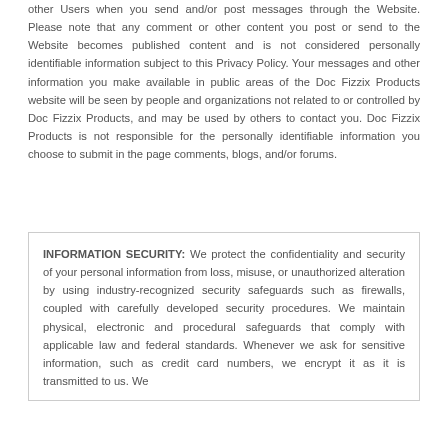other Users when you send and/or post messages through the Website. Please note that any comment or other content you post or send to the Website becomes published content and is not considered personally identifiable information subject to this Privacy Policy. Your messages and other information you make available in public areas of the Doc Fizzix Products website will be seen by people and organizations not related to or controlled by Doc Fizzix Products, and may be used by others to contact you. Doc Fizzix Products is not responsible for the personally identifiable information you choose to submit in the page comments, blogs, and/or forums.
INFORMATION SECURITY: We protect the confidentiality and security of your personal information from loss, misuse, or unauthorized alteration by using industry-recognized security safeguards such as firewalls, coupled with carefully developed security procedures. We maintain physical, electronic and procedural safeguards that comply with applicable law and federal standards. Whenever we ask for sensitive information, such as credit card numbers, we encrypt it as it is transmitted to us. We